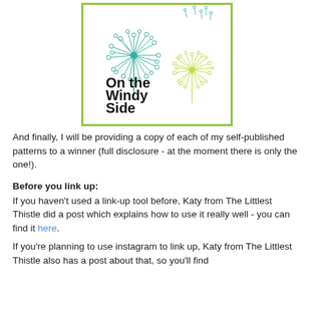[Figure (illustration): Book or pattern cover image with green dandelion line art illustration and text 'On the Windy Side' in black text, inside a green border frame.]
And finally, I will be providing a copy of each of my self-published patterns to a winner (full disclosure - at the moment there is only the one!).
Before you link up:
If you haven't used a link-up tool before, Katy from The Littlest Thistle did a post which explains how to use it really well - you can find it here.
If you're planning to use instagram to link up, Katy from The Littlest Thistle also has a post about that, so you'll find